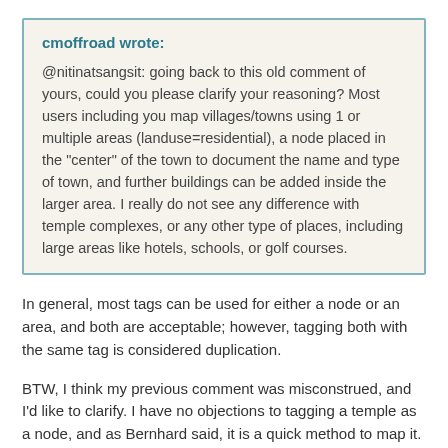cmoffroad wrote:
@nitinatsangsit: going back to this old comment of yours, could you please clarify your reasoning? Most users including you map villages/towns using 1 or multiple areas (landuse=residential), a node placed in the "center" of the town to document the name and type of town, and further buildings can be added inside the larger area. I really do not see any difference with temple complexes, or any other type of places, including large areas like hotels, schools, or golf courses.
In general, most tags can be used for either a node or an area, and both are acceptable; however, tagging both with the same tag is considered duplication.
BTW, I think my previous comment was misconstrued, and I'd like to clarify. I have no objections to tagging a temple as a node, and as Bernhard said, it is a quick method to map it. My concern is that the same information should not be tagged on both the node and the area at the same time, and that the tag should not be removed from the area for placing on the node instead.